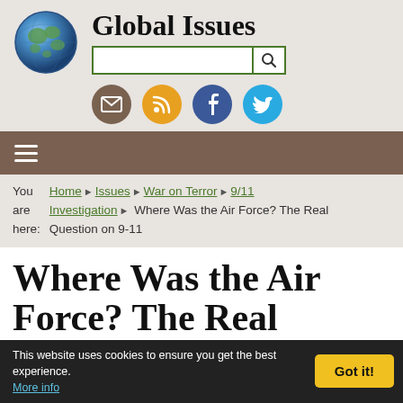Global Issues
You are here: Home ▶ Issues ▶ War on Terror ▶ 9/11 Investigation ▶ Where Was the Air Force? The Real Question on 9-11
Where Was the Air Force? The Real Question on 9-11
The following article is from Ted Rall, published
This website uses cookies to ensure you get the best experience. More info